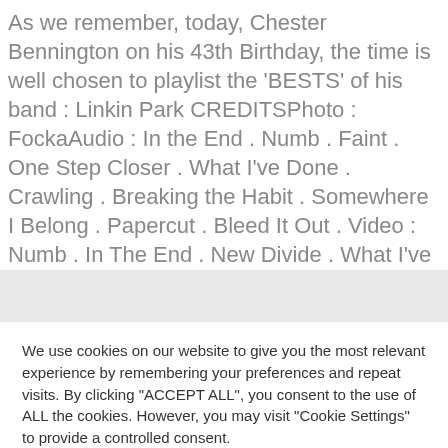As we remember, today, Chester Bennington on his 43th Birthday, the time is well chosen to playlist the 'BESTS' of his band : Linkin Park CREDITSPhoto : FockaAudio : In the End . Numb . Faint . One Step Closer . What I've Done . Crawling . Breaking the Habit . Somewhere I Belong . Papercut . Bleed It Out . Video : Numb . In The End . New Divide . What I've Done . Castle of Glass . Crawling ....
We use cookies on our website to give you the most relevant experience by remembering your preferences and repeat visits. By clicking "ACCEPT ALL", you consent to the use of ALL the cookies. However, you may visit "Cookie Settings" to provide a controlled consent.
Cookie Settings   REJECT ALL   ACCEPT ALL